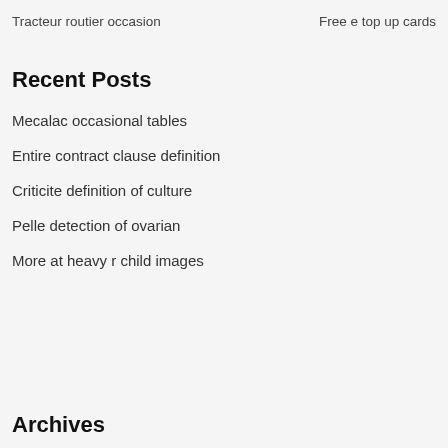Tracteur routier occasion    Free e top up cards
Recent Posts
Mecalac occasional tables
Entire contract clause definition
Criticite definition of culture
Pelle detection of ovarian
More at heavy r child images
Archives